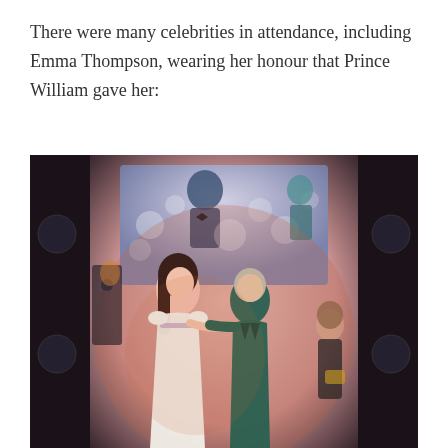There were many celebrities in attendance, including Emma Thompson, wearing her honour that Prince William gave her:
[Figure (photo): Two women facing each other and smiling/talking at an event. The woman on the left wears a white/light gown with a jeweled belt and has long dark hair. The woman on the right wears a dark teal/green suit and has short grey hair. In the background there is a large screen showing a man in a tuxedo, bokeh lights, and another woman in black on the right side. The setting appears to be an indoor event or gala.]